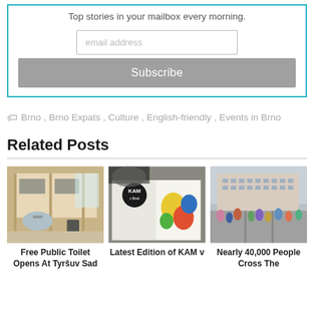Top stories in your mailbox every morning.
email address
Subscribe
Brno , Brno Expats , Culture , English-friendly , Events in Brno
Related Posts
[Figure (photo): Interior of a public toilet/restroom with beige walls, stainless steel sink, and stall partitions]
Free Public Toilet Opens At Tyršuv Sad
[Figure (photo): Open magazine showing colorful KAM v Brne publication with illustrated cover and person holding it]
Latest Edition of KAM v
[Figure (photo): Busy street scene in Brno city center with a large ornate building in the background and crowds of people]
Nearly 40,000 People Cross The